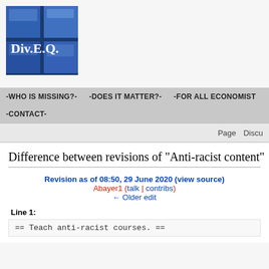[Figure (logo): Div.E.Q. logo — blue grid/window image with white serif text 'Div.E.Q.' overlaid]
-WHO IS MISSING?-   -DOES IT MATTER?-   -FOR ALL ECONOMISTS-   -CONTACT-
Page   Discu
Difference between revisions of "Anti-racist content"
Revision as of 08:50, 29 June 2020 (view source)
Abayer1 (talk | contribs)
← Older edit
Line 1:
== Teach anti-racist courses. ==